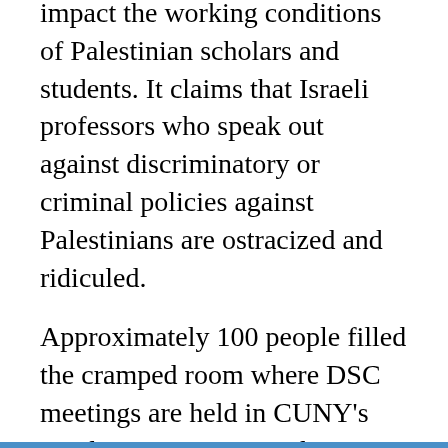impact the working conditions of Palestinian scholars and students. It claims that Israeli professors who speak out against discriminatory or criminal policies against Palestinians are ostracized and ridiculed.
Approximately 100 people filled the cramped room where DSC meetings are held in CUNY's Graduate Center in Midtown Manhattan on Friday night. The mood was tense, with the majority of people coming for the first time in order to support or oppose the contentious resolution. The debate was conducted with strict discipline from the council's chair, which warned potential protestors that they would be forced to leave if they